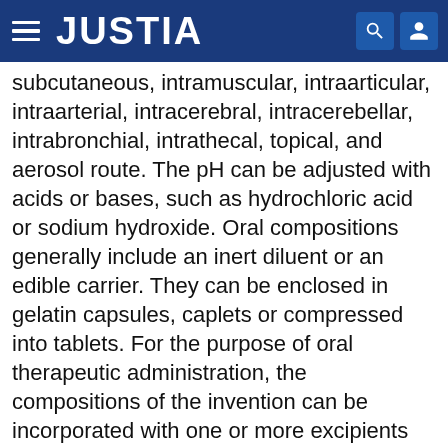JUSTIA
subcutaneous, intramuscular, intraarticular, intraarterial, intracerebral, intracerebellar, intrabronchial, intrathecal, topical, and aerosol route. The pH can be adjusted with acids or bases, such as hydrochloric acid or sodium hydroxide. Oral compositions generally include an inert diluent or an edible carrier. They can be enclosed in gelatin capsules, caplets or compressed into tablets. For the purpose of oral therapeutic administration, the compositions of the invention can be incorporated with one or more excipients and used in the form of tablets, troches, or capsules. Oral compositions can also be prepared using a fluid carrier for use as a mouthwash, wherein the compound in the fluid carrier is applied orally and swished and expectorated or swallowed. Pharmaceutically compatible binding compounds, and/or adjuvant materials can be included as part of the